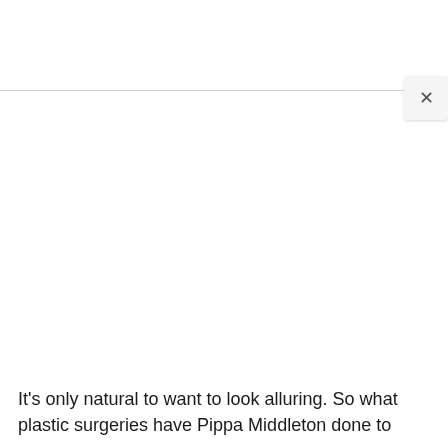[Figure (other): White area with a horizontal divider line and a close (X) button in the upper right, representing a UI overlay or modal dialog element. The main content area is blank/white.]
It's only natural to want to look alluring. So what plastic surgeries have Pippa Middleton done to